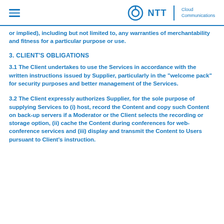NTT Cloud Communications
or implied), including but not limited to, any warranties of merchantability and fitness for a particular purpose or use.
3. CLIENT'S OBLIGATIONS
3.1 The Client undertakes to use the Services in accordance with the written instructions issued by Supplier, particularly in the "welcome pack" for security purposes and better management of the Services.
3.2 The Client expressly authorizes Supplier, for the sole purpose of supplying Services to (i) host, record the Content and copy such Content on back-up servers if a Moderator or the Client selects the recording or storage option, (ii) cache the Content during conferences for web-conference services and (iii) display and transmit the Content to Users pursuant to Client's instruction.